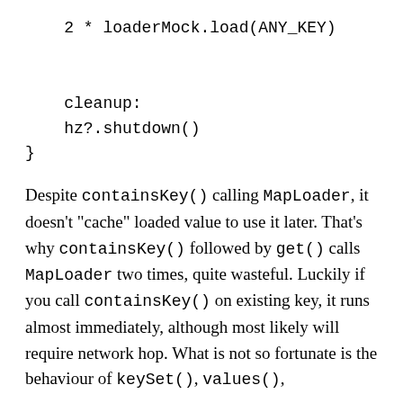2 * loaderMock.load(ANY_KEY)


    cleanup:
    hz?.shutdown()
}
Despite containsKey() calling MapLoader, it doesn't "cache" loaded value to use it later. That's why containsKey() followed by get() calls MapLoader two times, quite wasteful. Luckily if you call containsKey() on existing key, it runs almost immediately, although most likely will require network hop. What is not so fortunate is the behaviour of keySet(), values(),